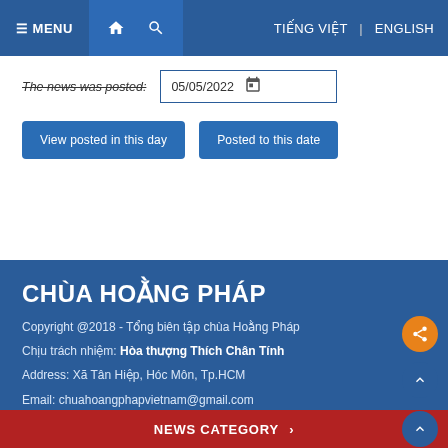≡ MENU  🏠  🔍  TIẾNG VIỆT | ENGLISH
The news was posted: 05/05/2022
View posted in this day   Posted to this date
CHÙA HOẰNG PHÁP
Copyright @2018 - Tổng biên tập chùa Hoằng Pháp
Chịu trách nhiệm: Hòa thượng Thích Chân Tính
Address: Xã Tân Hiệp, Hóc Môn, Tp.HCM
Email: chuahoangphapvietnam@gmail.com
Phone: 028.37130002
f FACEBOOK  ▶ YOUTUBE
NEWS CATEGORY ›